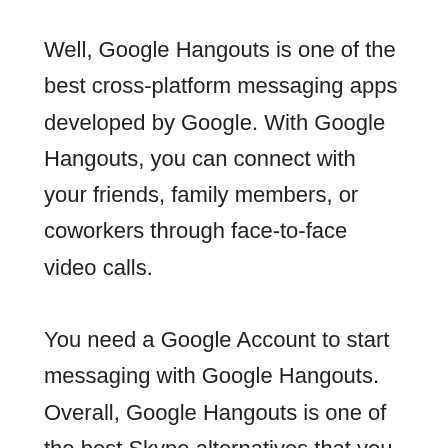Well, Google Hangouts is one of the best cross-platform messaging apps developed by Google. With Google Hangouts, you can connect with your friends, family members, or coworkers through face-to-face video calls.
You need a Google Account to start messaging with Google Hangouts. Overall, Google Hangouts is one of the best Skype alternatives that you can use today.
2. Viber